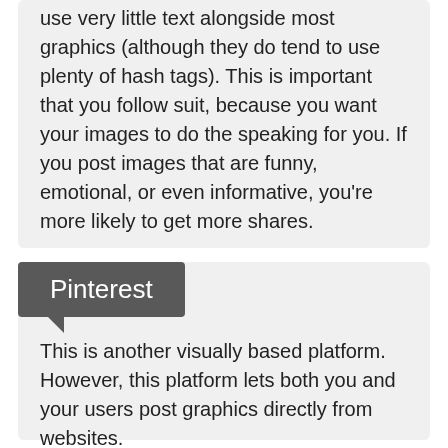Take note that people who post on Instagram use very little text alongside most graphics (although they do tend to use plenty of hash tags). This is important that you follow suit, because you want your images to do the speaking for you. If you post images that are funny, emotional, or even informative, you’re more likely to get more shares.
Pinterest
This is another visually based platform. However, this platform lets both you and your users post graphics directly from websites.